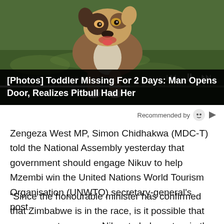[Figure (photo): A pitbull dog standing on grass outdoors, viewed from the front, with video player controls (skip back, pause, skip forward) overlaid on the bottom right, and a progress bar at the bottom of the video frame.]
[Photos] Toddler Missing For 2 Days: Man Opens Door, Realizes Pitbull Had Her
Recommended by
Zengeza West MP, Simon Chidhakwa (MDC-T) told the National Assembly yesterday that government should engage Nikuv to help Mzembi win the United Nations World Tourism Organisation (UNWTO) secretary-general's post.
“Since the honourable minister has confirmed that Zimbabwe is in the race, is it possible that government engages Nikuv to help us to win the post since they have done well